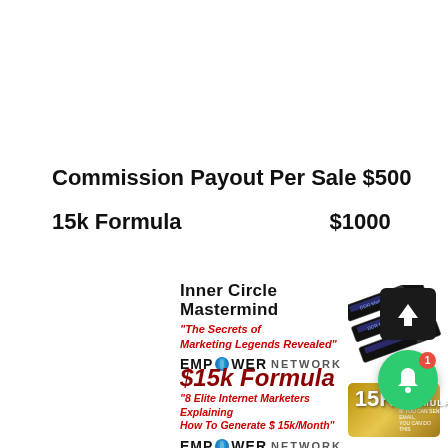Commission Payout Per Sale $500
15k Formula    $1000
[Figure (infographic): Inner Circle Mastermind ad with text 'The Secrets of Marketing Legends Revealed' and Empower Network branding with image of RAM memory sticks]
[Figure (infographic): $15k Formula ad with text '8 Elite Internet Marketers Explaining How To Generate $15k/Month' and Empower Network branding with 15K Formula gold badge]